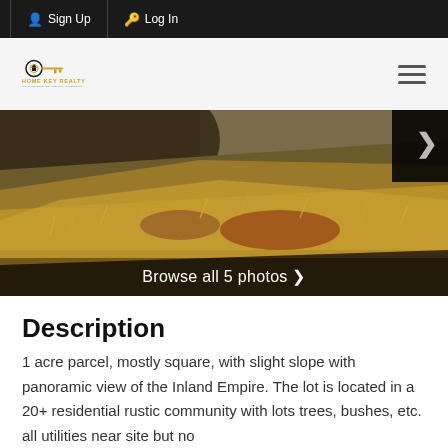Sign Up  Log In
[Figure (logo): Home Key Realty logo with key icon and tagline]
[Figure (photo): Outdoor hillside landscape photo with dry golden grass and brush. Navigation arrow on right. 'Browse all 5 photos >' overlay at bottom.]
Description
1 acre parcel, mostly square, with slight slope with panoramic view of the Inland Empire. The lot is located in a 20+ residential rustic community with lots trees, bushes, etc. all utilities near site but no